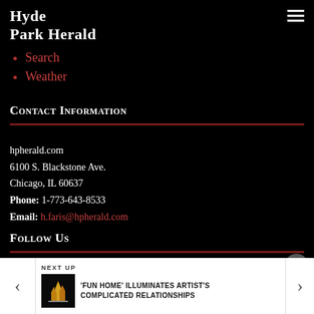Hyde Park Herald
Search
Weather
Contact Information
hpherald.com
6100 S. Blackstone Ave.
Chicago, IL 60637
Phone: 1-773-643-8533
Email: h.faris@hpherald.com
Follow Us
[Figure (illustration): Three social media icons: Facebook (blue circle with f logo), Twitter (light blue circle with bird logo), Instagram (beige/tan circle with camera outline logo)]
NEXT UP | 'Fun Home' illuminates artist's complicated relationships